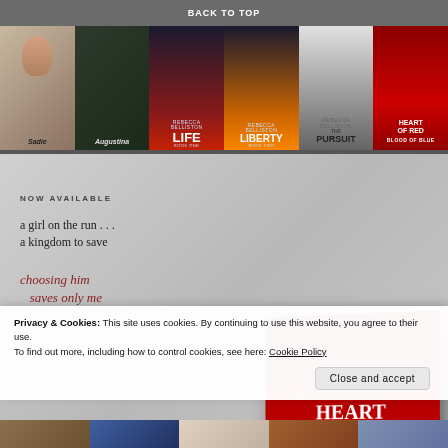BACK TO TOP
[Figure (illustration): Row of book covers by Rebecca Belliston: Sadie, Augustina, Life, Liberty, The Pursuit, Heart of Red Blood of Blue]
[Figure (illustration): Promotional banner for Heart of Red Blood of Blue: NOW AVAILABLE, a girl on the run... a kingdom to save, choosing him saves only me, with book cover image on the right]
Privacy & Cookies: This site uses cookies. By continuing to use this website, you agree to their use.
To find out more, including how to control cookies, see here: Cookie Policy
Close and accept
[Figure (illustration): Bottom strip showing partial book covers]